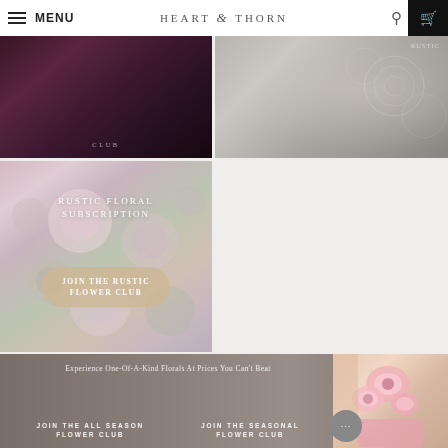MENU | HEART & THORN
[Figure (photo): Dark floral/velvet top-left image, partially cropped]
[Figure (photo): Grey lace/fabric texture image top-right, partially cropped]
[Figure (photo): Rustic floral subscription promotional image with pink and white flowers background, title RUSTIC FLORAL SUBSCRIPTION, and JOIN THE RUSTIC FLOWER CLUB button]
Experience One-Of-A-Kind Florals At Prices You Can't Beat
JOIN THE ALL SEASON FLOWER CLUB
JOIN THE SEASONAL FLOWER CLUB
[Figure (photo): Florist holding pink flower arrangement, bottom right]